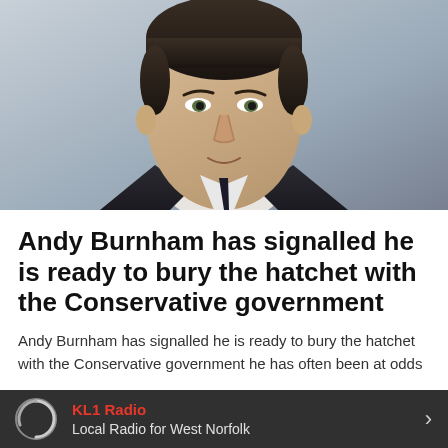[Figure (photo): Headshot of Andy Burnham, a man in a dark suit with a light shirt, smiling slightly, against a light grey background.]
Andy Burnham has signalled he is ready to bury the hatchet with the Conservative government
Andy Burnham has signalled he is ready to bury the hatchet with the Conservative government he has often been at odds
KL1 Radio — Local Radio for West Norfolk